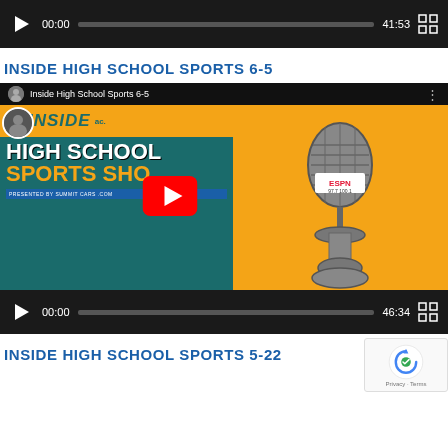[Figure (screenshot): Video player controls bar showing play button, timestamp 00:00, progress bar, duration 41:53, and fullscreen button on dark background]
INSIDE HIGH SCHOOL SPORTS 6-5
[Figure (screenshot): YouTube video thumbnail for Inside High School Sports 6-5 showing ESPN 97.7 100.1 microphone on orange background with High School Sports Show text, with YouTube play button overlay and player controls showing 00:00 / 46:34]
INSIDE HIGH SCHOOL SPORTS 5-22